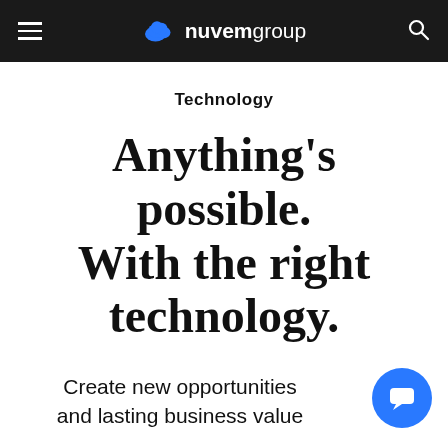nuvemgroup
Technology
Anything's possible. With the right technology.
Create new opportunities and lasting business value